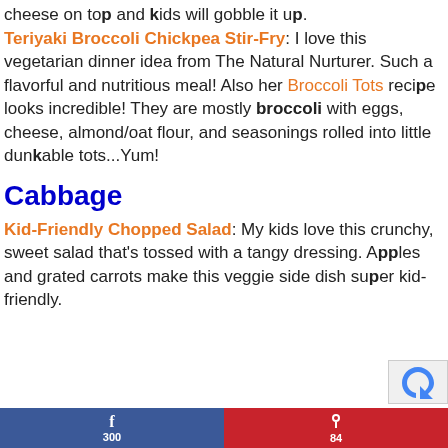cheese on top and kids will gobble it up.
Teriyaki Broccoli Chickpea Stir-Fry: I love this vegetarian dinner idea from The Natural Nurturer. Such a flavorful and nutritious meal! Also her Broccoli Tots recipe looks incredible! They are mostly broccoli with eggs, cheese, almond/oat flour, and seasonings rolled into little dunkable tots...Yum!
Cabbage
Kid-Friendly Chopped Salad: My kids love this crunchy, sweet salad that's tossed with a tangy dressing. Apples and grated carrots make this veggie side dish super kid-friendly.
f 300   P 84